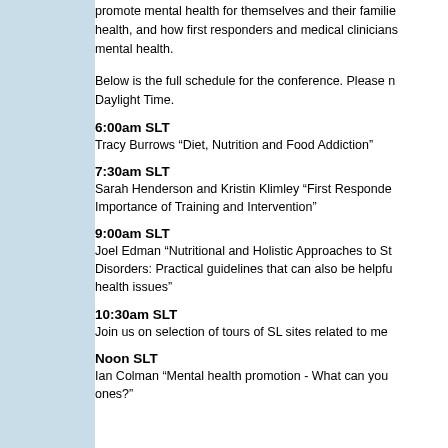promote mental health for themselves and their families health, and how first responders and medical clinicians mental health.
Below is the full schedule for the conference. Please n Daylight Time.
6:00am SLT
Tracy Burrows “Diet, Nutrition and Food Addiction”
7:30am SLT
Sarah Henderson and Kristin Klimley “First Responde Importance of Training and Intervention”
9:00am SLT
Joel Edman “Nutritional and Holistic Approaches to St Disorders: Practical guidelines that can also be helpfu health issues”
10:30am SLT
Join us on selection of tours of SL sites related to me
Noon SLT
Ian Colman “Mental health promotion - What can you ones?”